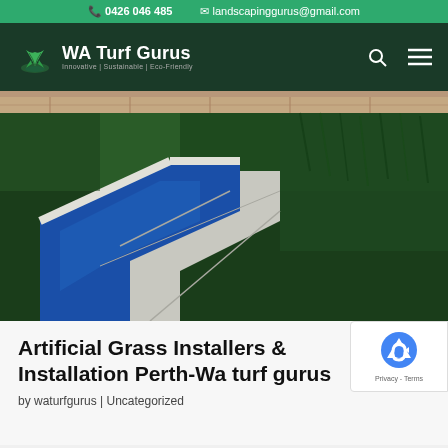0426 046 485  landscapinggurus@gmail.com
[Figure (logo): WA Turf Gurus logo with plant icon, brand name and tagline 'Innovative | Sustainable | Eco-Friendly']
[Figure (photo): Artificial grass installed around a swimming pool with white paved surround and brick wall in background]
Artificial Grass Installers & Installation Perth-Wa turf gurus
by waturfgurus | Uncategorized